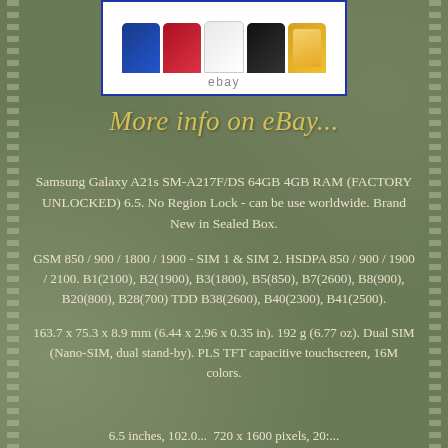[Figure (photo): Product listing image showing Samsung Galaxy A21s in multiple colors (blue, red, white, black, gold) displayed on a white background with eBay watermark]
[Figure (other): More info on eBay... banner text in yellow italic cursive font on olive/green background]
Samsung Galaxy A21s SM-A217F/DS 64GB 4GB RAM (FACTORY UNLOCKED) 6.5. No Region Lock - can be use worldwide. Brand New in Sealed Box.
GSM 850 / 900 / 1800 / 1900 - SIM 1 & SIM 2. HSDPA 850 / 900 / 1900 / 2100. B1(2100), B2(1900), B3(1800), B5(850), B7(2600), B8(900), B20(800), B28(700) TDD B38(2600), B40(2300), B41(2500).
163.7 x 75.3 x 8.9 mm (6.44 x 2.96 x 0.35 in). 192 g (6.77 oz). Dual SIM (Nano-SIM, dual stand-by). PLS TFT capacitive touchscreen, 16M colors.
6.5 inches, 102.0...  720 x 1600 pixels, 20:...